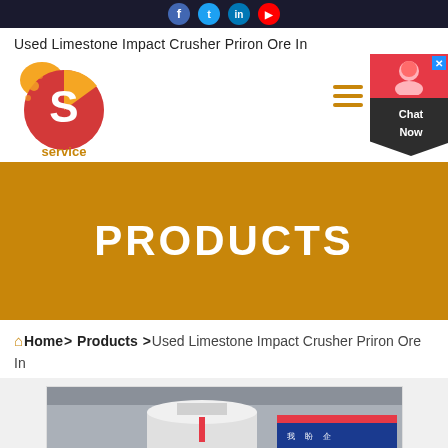Social media icons bar
Used Limestone Impact Crusher Priron Ore In
[Figure (logo): Company logo with orange/red circular S icon and 'service' text below]
PRODUCTS
Home > Products > Used Limestone Impact Crusher Priron Ore In
[Figure (photo): Industrial crusher equipment in a factory setting with Chinese signage]